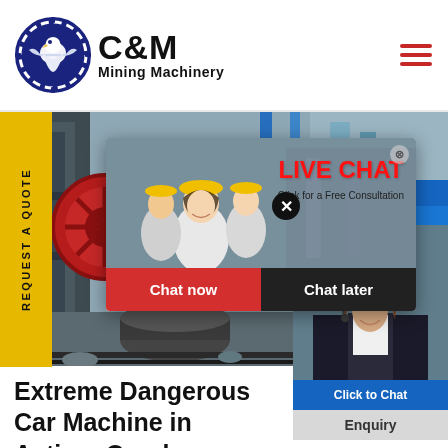[Figure (logo): C&M Mining Machinery logo with eagle in gear circle, dark navy blue]
[Figure (photo): Industrial mining machinery equipment with large gear wheels, red circular mechanisms, and blue steel structures in background]
REQUEST A QUOTE
[Figure (screenshot): Live chat popup overlay showing workers in yellow hard hats, LIVE CHAT heading in red, Click for a Free Consultation subtitle, Chat now (red) and Chat later (dark) buttons]
[Figure (photo): Customer service representative wearing headset, smiling, with blue chat widget showing Hours Online header and Click to Chat button]
Extreme Dangerous Car Machine in Action, Crush
Enquiry